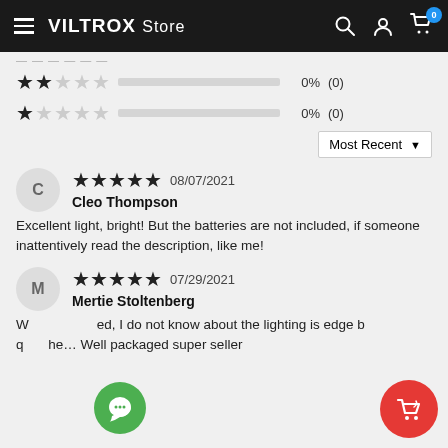VILTROX Store
2 star: 0% (0)
1 star: 0% (0)
Sort: Most Recent
C — Cleo Thompson — 5 stars — 08/07/2021 — Excellent light, bright! But the batteries are not included, if someone inattentively read the description, like me!
M — Mertie Stoltenberg — 5 stars — 07/29/2021 — Well packaged super seller